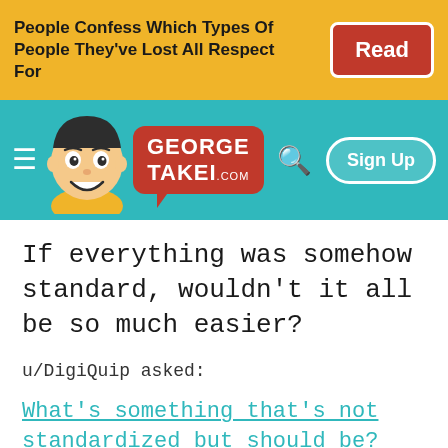People Confess Which Types Of People They've Lost All Respect For
[Figure (screenshot): George Takei .com website navigation bar with mascot cartoon logo, hamburger menu, search icon, and Sign Up button on teal background]
If everything was somehow standard, wouldn't it all be so much easier?
u/DigiQuip asked:
What's something that's not standardized but should be?
Here were some of those answers.